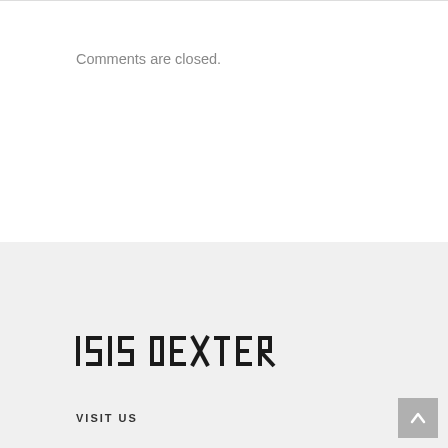Comments are closed.
[Figure (logo): 1515 DEXTER logo in stylized geometric font]
VISIT US
Scroll to top button